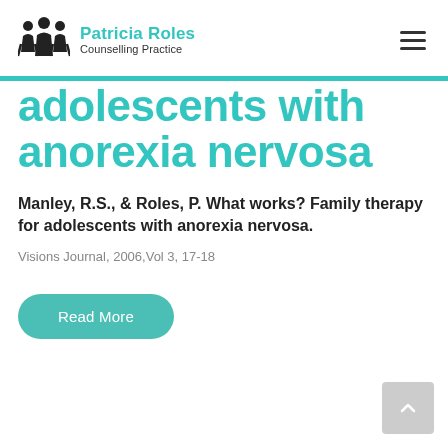Patricia Roles Counselling Practice
adolescents with anorexia nervosa
Manley, R.S., & Roles, P. What works? Family therapy for adolescents with anorexia nervosa.
Visions Journal, 2006,Vol 3, 17-18